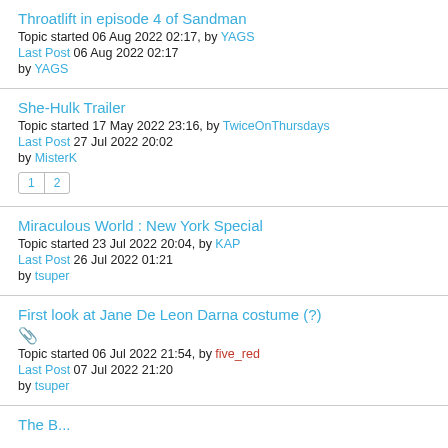Throatlift in episode 4 of Sandman
Topic started 06 Aug 2022 02:17, by YAGS
Last Post 06 Aug 2022 02:17
by YAGS
She-Hulk Trailer
Topic started 17 May 2022 23:16, by TwiceOnThursdays
Last Post 27 Jul 2022 20:02
by MisterK
Pages: 1 2
Miraculous World : New York Special
Topic started 23 Jul 2022 20:04, by KAP
Last Post 26 Jul 2022 01:21
by tsuper
First look at Jane De Leon Darna costume (?)
[attachment]
Topic started 06 Jul 2022 21:54, by five_red
Last Post 07 Jul 2022 21:20
by tsuper
The B... S... 2 t... t... i...